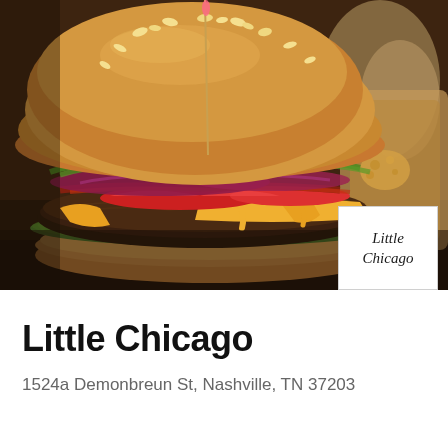[Figure (photo): Close-up photo of a large gourmet burger with sesame seed bun, melted cheddar cheese, beef patty, lettuce, red cabbage, pickled jalapenos, red peppers, and arugula on a wooden board, with a paper bag of snacks visible in the background right]
Little Chicago
1524a Demonbreun St, Nashville, TN 37203